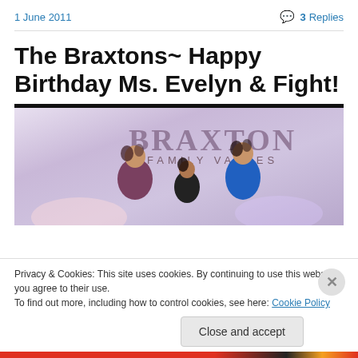1 June 2011
3 Replies
The Braxtons~ Happy Birthday Ms. Evelyn & Fight!
[Figure (photo): Braxton Family Values TV show promotional image showing three women with the show title text 'BRAXTON FAMILY VALUES' overlaid]
Privacy & Cookies: This site uses cookies. By continuing to use this website, you agree to their use.
To find out more, including how to control cookies, see here: Cookie Policy
Close and accept